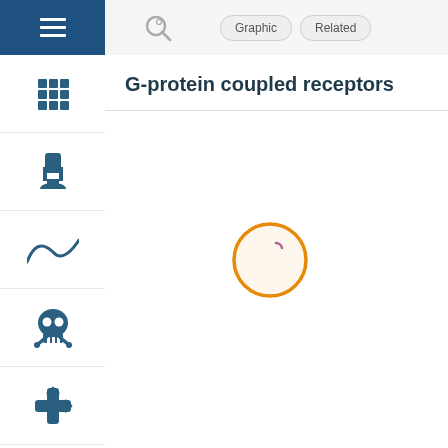[Figure (screenshot): Navigation UI showing hamburger menu icon (white lines on dark blue background), search icon, and two tab buttons labeled Graphic and Related]
G-protein coupled receptors
[Figure (other): Loading spinner circle with orange border and small purple arc inside, indicating content is loading. Located in center-right of the main content area.]
[Figure (illustration): Left sidebar with icons: grid/apps icon, user/person icon, curve/wave icon, skull and crossbones icon, medical cross/asterisk icon, heart icon, and partially visible bottom icon. All icons in dark blue-grey color on white background with dividing lines.]